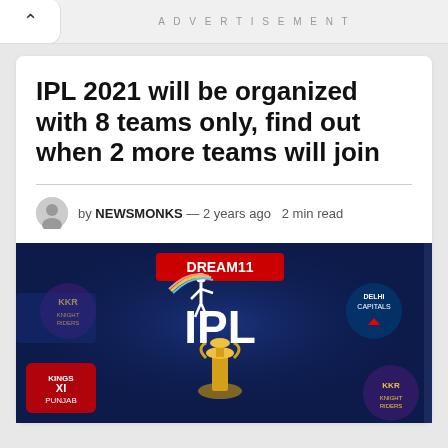ADVERTISEMENT
IPL 2021 will be organized with 8 teams only, find out when 2 more teams will join
by NEWSMONKS — 2 years ago  2 min read
[Figure (photo): Dream11 IPL promotional banner with dark blue background showing IPL team logos including KKR, Delhi Capitals, Kings XI Punjab, and the IPL trophy in the center with the Dream11 IPL logo at top.]